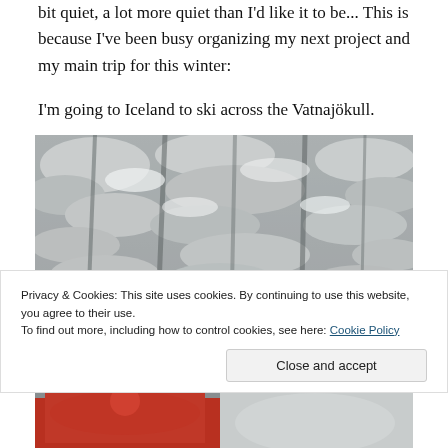bit quiet, a lot more quiet than I'd like it to be... This is because I've been busy organizing my next project and my main trip for this winter:
I'm going to Iceland to ski across the Vatnajökull.
[Figure (photo): Snow-covered trees landscape, black and white / grey tones, dense branches laden with snow]
Privacy & Cookies: This site uses cookies. By continuing to use this website, you agree to their use.
To find out more, including how to control cookies, see here: Cookie Policy
[Figure (photo): Bottom partial strip showing red jacket / person in winter gear]